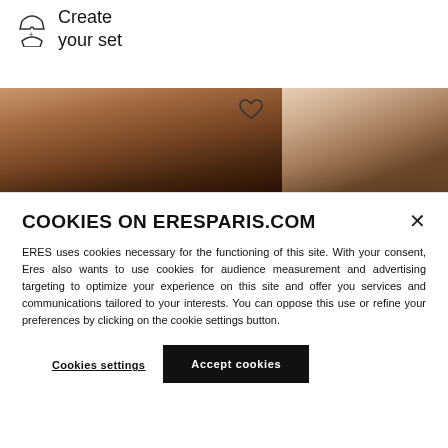Create your set
[Figure (photo): Two product photos of models wearing black lingerie on beige/neutral background]
COOKIES ON ERESPARIS.COM
ERES uses cookies necessary for the functioning of this site. With your consent, Eres also wants to use cookies for audience measurement and advertising targeting to optimize your experience on this site and offer you services and communications tailored to your interests. You can oppose this use or refine your preferences by clicking on the cookie settings button.
Cookies settings
Accept cookies